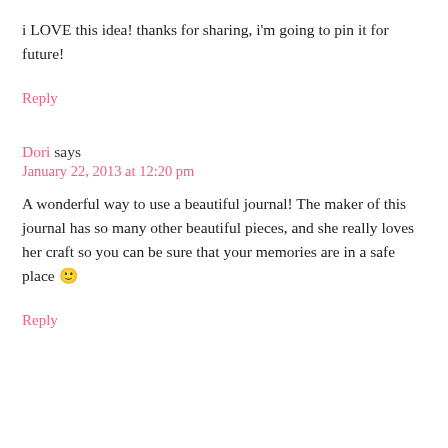i LOVE this idea! thanks for sharing, i'm going to pin it for future!
Reply
Dori says
January 22, 2013 at 12:20 pm
A wonderful way to use a beautiful journal! The maker of this journal has so many other beautiful pieces, and she really loves her craft so you can be sure that your memories are in a safe place 🙂
Reply